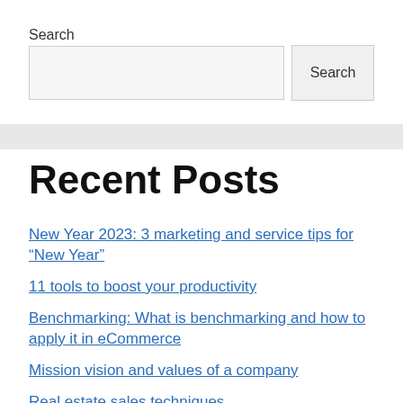Search
Search input and button
Recent Posts
New Year 2023: 3 marketing and service tips for “New Year”
11 tools to boost your productivity
Benchmarking: What is benchmarking and how to apply it in eCommerce
Mission vision and values of a company
Real estate sales techniques